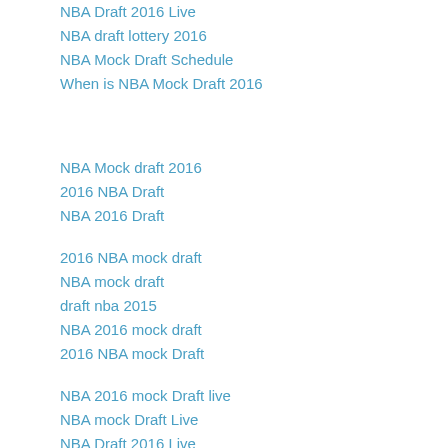NBA Draft 2016 Live
NBA draft lottery 2016
NBA Mock Draft Schedule
When is NBA Mock Draft 2016
NBA Mock draft 2016
2016 NBA Draft
NBA 2016 Draft
2016 NBA mock draft
NBA mock draft
draft nba 2015
NBA 2016 mock draft
2016 NBA mock Draft
NBA 2016 mock Draft live
NBA mock Draft Live
NBA Draft 2016 Live